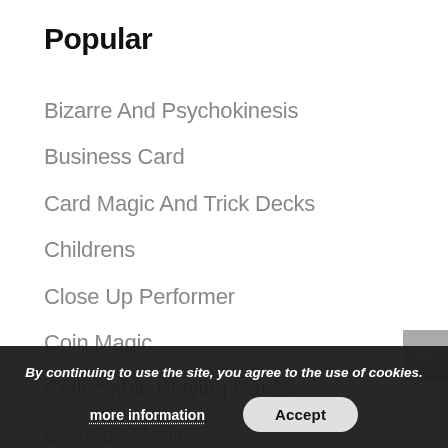Popular
Bizarre And Psychokinesis
Business Card
Card Magic And Trick Decks
Childrens
Close Up Performer
Coin Magic
Collectable Playing Cards
Comedy Magic
Exclusive
General
By continuing to use the site, you agree to the use of cookies.
more information
Accept